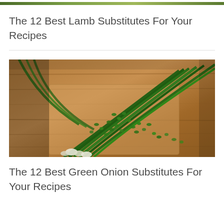[Figure (photo): Partial cropped image at top of page, showing green plant/herb (lamb-related recipe image), only a sliver visible at top]
The 12 Best Lamb Substitutes For Your Recipes
[Figure (photo): Green onions (scallions) on a wooden cutting board with chopped green onion pieces scattered around, photographed from above at an angle]
The 12 Best Green Onion Substitutes For Your Recipes